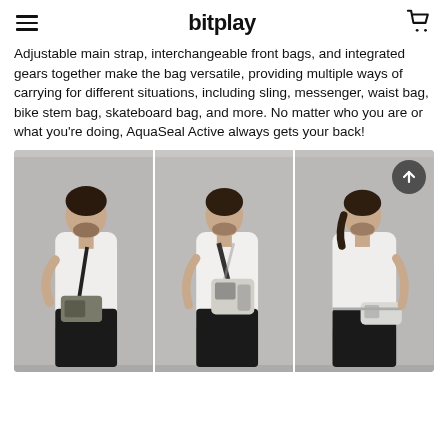bitplay
Adjustable main strap, interchangeable front bags, and integrated gears together make the bag versatile, providing multiple ways of carrying for different situations, including sling, messenger, waist bag, bike stem bag, skateboard bag, and more. No matter who you are or what you're doing, AquaSeal Active always gets your back!
[Figure (photo): Three photos of a man wearing a bag (AquaSeal Active) in different carrying styles against a gray background: left photo shows waist/messenger carry, middle photo shows sling/shoulder carry, right photo shows waist bag carry. A dark scroll-up button is overlaid on the top-right of the image set.]